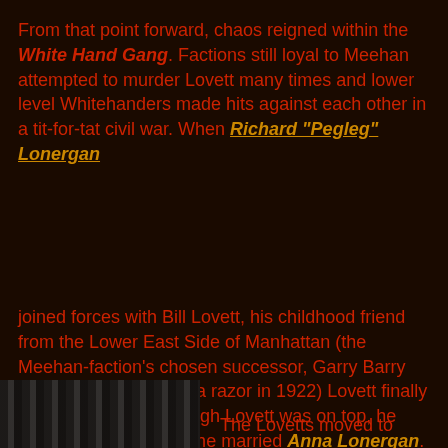From that point forward, chaos reigned within the White Hand Gang. Factions still loyal to Meehan attempted to murder Lovett many times and lower level Whitehanders made hits against each other in a tit-for-tat civil war. When Richard "Pegleg" Lonergan
joined forces with Bill Lovett, his childhood friend from the Lower East Side of Manhattan (the Meehan-faction's chosen successor, Garry Barry had his throat slit with a razor in 1922) Lovett finally wrested control. Although Lovett was on top, he soon wanted out after he married Anna Lonergan, Pegleg's sister.
[Figure (photo): Black and white photo of a person, partially visible at bottom left of page]
The Lovetts moved to